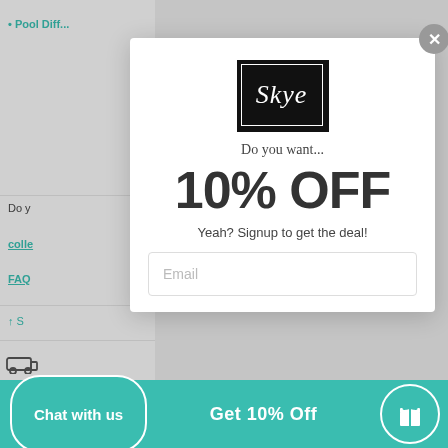[Figure (screenshot): Background webpage partially visible behind modal, showing teal navigation links (colle, FAQ), share icon, truck icon, plant icon, and partial text 'Do y' and 'Yo']
[Figure (logo): Skye brand logo: black square with white border and cursive 'Skye' text in white]
Do you want...
10% OFF
Yeah? Signup to get the deal!
Email
Chat with us
Get 10% Off